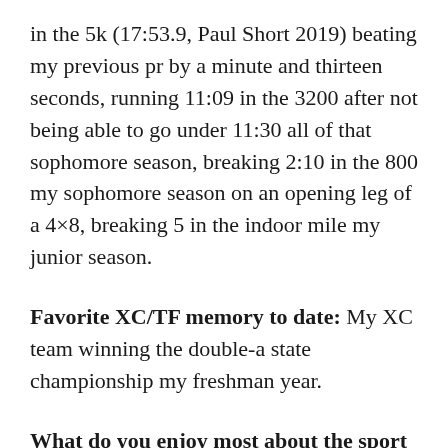in the 5k (17:53.9, Paul Short 2019) beating my previous pr by a minute and thirteen seconds, running 11:09 in the 3200 after not being able to go under 11:30 all of that sophomore season, breaking 2:10 in the 800 my sophomore season on an opening leg of a 4×8, breaking 5 in the indoor mile my junior season.
Favorite XC/TF memory to date: My XC team winning the double-a state championship my freshman year.
What do you enjoy most about the sport of XC and/or TF: The fact that there will always be